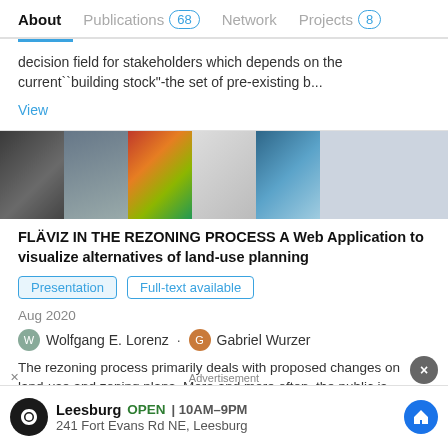About  Publications 68  Network  Projects 8
decision field for stakeholders which depends on the current``building stock"-the set of pre-existing b...
View
[Figure (photo): Strip of 7 thumbnail images showing urban planning visualizations including 3D models, color-coded maps, aerial views, and blank placeholders]
FLÄVIZ IN THE REZONING PROCESS A Web Application to visualize alternatives of land-use planning
Presentation  Full-text available
Aug 2020
Wolfgang E. Lorenz · Gabriel Wurzer
The rezoning process primarily deals with proposed changes on land-use and zoning plans. More and more often, the public is
Advertisement  Leesburg  OPEN | 10AM–9PM  241 Fort Evans Rd NE, Leesburg